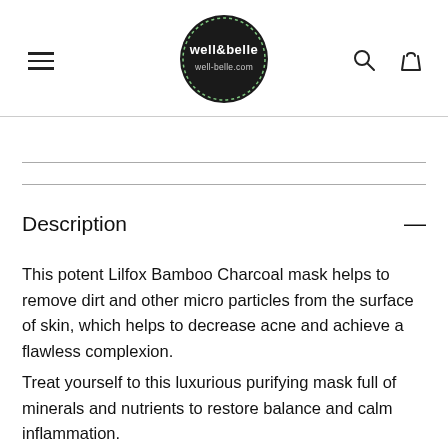[Figure (logo): well&belle well-belle.com logo — black circle with dotted border and white text]
Description
This potent Lilfox Bamboo Charcoal mask helps to remove dirt and other micro particles from the surface of skin, which helps to decrease acne and achieve a flawless complexion.
Treat yourself to this luxurious purifying mask full of minerals and nutrients to restore balance and calm inflammation.